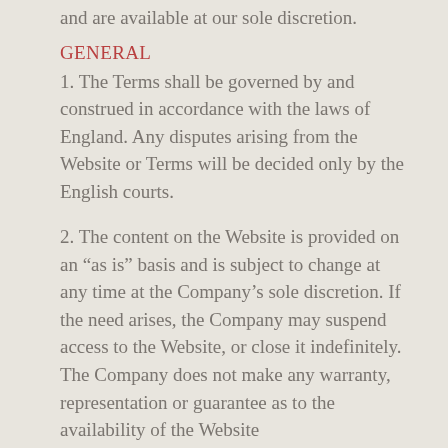and are available at our sole discretion.
GENERAL
1. The Terms shall be governed by and construed in accordance with the laws of England. Any disputes arising from the Website or Terms will be decided only by the English courts.
2. The content on the Website is provided on an “as is” basis and is subject to change at any time at the Company’s sole discretion. If the need arises, the Company may suspend access to the Website, or close it indefinitely. The Company does not make any warranty, representation or guarantee as to the availability of the Website
3. If any of the Terms are held by any